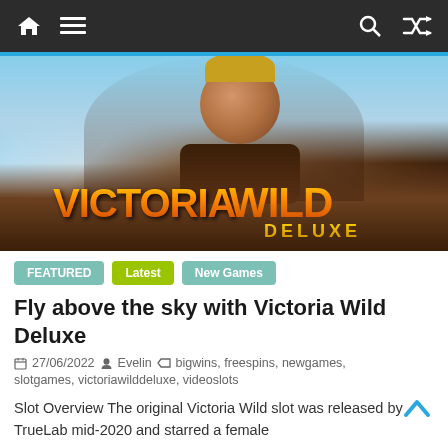Navigation bar with home, menu, search, and shuffle icons
[Figure (illustration): Hero image showing a female aviator character with goggles and brown leather jacket saluting, with 'Victoria Wild Deluxe' logo text in orange/gold gradient lettering over a sky and desert background]
FEATURED
Latest
New Games
Fly above the sky with Victoria Wild Deluxe
27/06/2022  Evelin  bigwins, freespins, newgames, slotgames, victoriawilddeluxe, videoslots
Slot Overview The original Victoria Wild slot was released by TrueLab mid-2020 and starred a female